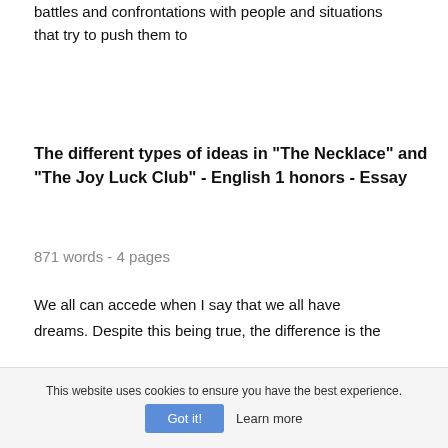battles and confrontations with people and situations that try to push them to
The different types of ideas in "The Necklace" and "The Joy Luck Club" - English 1 honors - Essay
871 words - 4 pages
We all can accede when I say that we all have dreams. Despite this being true, the difference is the way we realise our dream, acquire our dream, and how our dream affects us. People have different
This website uses cookies to ensure you have the best experience.